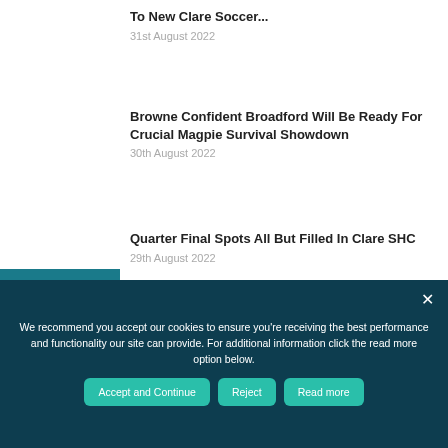To New Clare Soccer...
31st August 2022
Browne Confident Broadford Will Be Ready For Crucial Magpie Survival Showdown
30th August 2022
Quarter Final Spots All But Filled In Clare SHC
29th August 2022
We recommend you accept our cookies to ensure you're receiving the best performance and functionality our site can provide. For additional information click the read more option below.